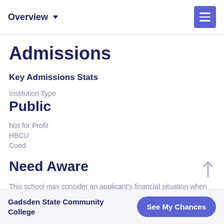Overview ▼
Admissions
Key Admissions Stats
Institution Type
Public
Not for Profit
HBCU
Coed
Need Aware
This school may consider an applicant's financial situation when
Gadsden State Community College
See My Chances